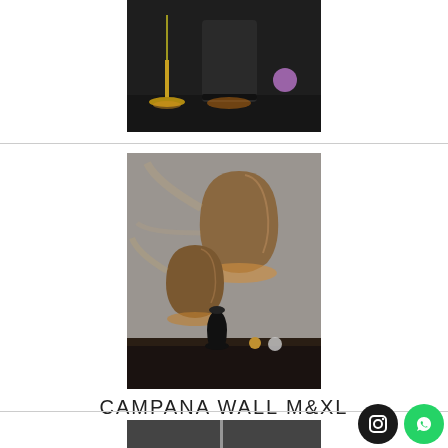[Figure (photo): Product photo of CAGE 25&30 lighting fixtures on dark background]
CAGE 25&30
[Figure (photo): Product photo of CAMPANA WALL M&XL bronze wall sconces mounted on textured grey wall above dark console table]
CAMPANA WALL M&XL
[Figure (photo): Partial product photo at bottom of page]